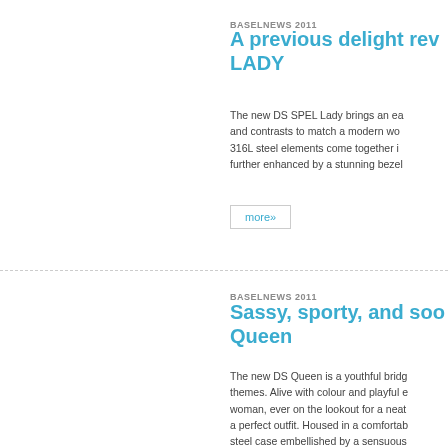BASELNEWS 2011
A previous delight rev... LADY
The new DS SPEL Lady brings an ear... and contrasts to match a modern wo... 316L steel elements come together in... further enhanced by a stunning bezel
more»
BASELNEWS 2011
Sassy, sporty, and soo... Queen
The new DS Queen is a youthful bridg... themes. Alive with colour and playful e... woman, ever on the lookout for a neat... a perfect outfit. Housed in a comfortab... steel case embellished by a sensuous... bezel, its trustworthy ETA movement p... central seconds and date to your spon...